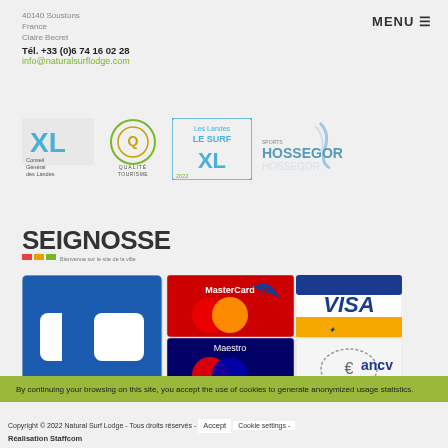40140 Soustons
France
Claire Becret
Tél. +33 (0)6 74 16 02 28
info@naturalsurflodge.com
MENU ☰
[Figure (logo): XL Conseil Général des Landes logo]
[Figure (logo): Qualité Tourisme logo]
[Figure (logo): Les Landes Le Surf XL logo]
[Figure (logo): Sports Hossegor logo]
[Figure (logo): Seignosse - Bienvenue sur le site de la ville logo]
[Figure (logo): Payment logos: CB, MasterCard, Visa, Maestro, Euro cheque, ANCV]
By continuing your browsing on this site, you accept the use of cookies to generate anonymized usage statistics.
Copyright © 2022 Natural Surf Lodge - Tous droits réservés - Accept - Cookie settings - Réalisation Staffcom